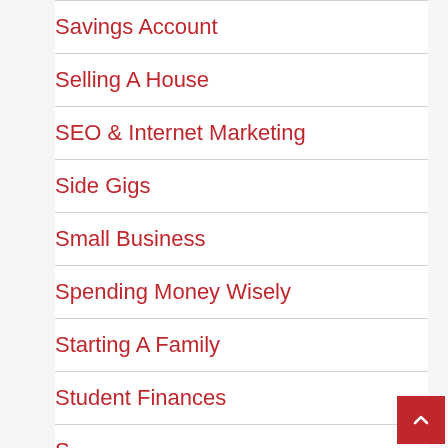Savings Account
Selling A House
SEO & Internet Marketing
Side Gigs
Small Business
Spending Money Wisely
Starting A Family
Student Finances
S…